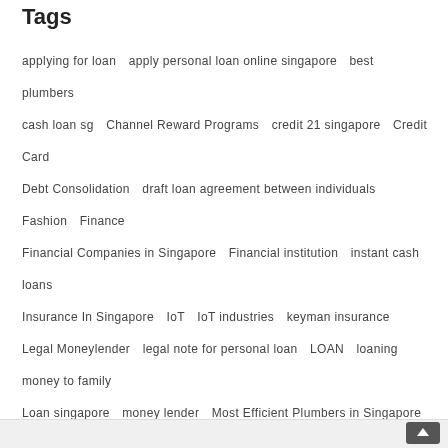Tags
applying for loan
apply personal loan online singapore
best plumbers
cash loan sg
Channel Reward Programs
credit 21 singapore
Credit Card
Debt Consolidation
draft loan agreement between individuals
Fashion
Finance
Financial Companies in Singapore
Financial institution
instant cash loans
Insurance In Singapore
IoT
IoT industries
keyman insurance
Legal Moneylender
legal note for personal loan
LOAN
loaning money to family
Loan singapore
money lender
Most Efficient Plumbers in Singapore
online loan singapore
Payday Loan
payday loans online
Pencil Skirt
Personal loan
personal loan in Singapore
personal loan interest rates
Personal Loans
Pleated Mini Skirt
Plumber
plumbers in Singapore
SME Loan singapore
travel insurance
travel plan
Tuya Inc
Tuya smart